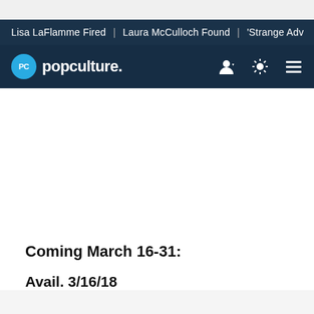Lisa LaFlamme Fired | Laura McCulloch Found | 'Strange Adv
[Figure (logo): PopCulture.com logo with navigation bar: user icon, theme toggle, and menu icon]
Coming March 16-31:
Avail. 3/16/18